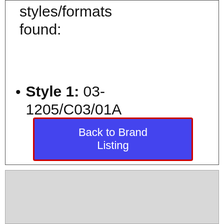styles/formats found:
Style 1: 03-1205/C03/01A
[Figure (screenshot): Blue button with red border labeled 'Back to Brand Listing']
[Figure (other): Light gray rectangle section at bottom of page]